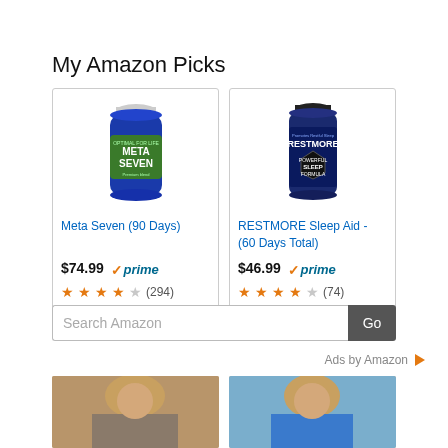My Amazon Picks
[Figure (photo): Meta Seven supplement bottle, blue with green label, 90 count]
Meta Seven (90 Days)
$74.99 ✓prime ★★★★☆ (294)
[Figure (photo): RESTMORE Sleep Aid supplement bottle, dark blue, 60 count]
RESTMORE Sleep Aid - (60 Days Total)
$46.99 ✓prime ★★★★☆ (74)
Search Amazon
Go
Ads by Amazon
[Figure (photo): Woman with short hair outdoors near oranges]
[Figure (photo): Woman in blue top outdoors]